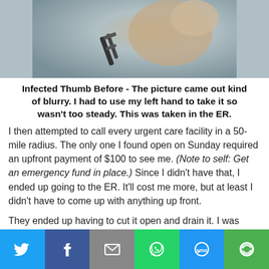[Figure (photo): Close-up photo of an infected thumb, blurry, taken in the ER with left hand]
Infected Thumb Before - The picture came out kind of blurry. I had to use my left hand to take it so wasn't too steady. This was taken in the ER.
I then attempted to call every urgent care facility in a 50-mile radius. The only one I found open on Sunday required an upfront payment of $100 to see me. (Note to self: Get an emergency fund in place.) Since I didn't have that, I ended up going to the ER. It'll cost me more, but at least I didn't have to come up with anything up front.
They ended up having to cut it open and drain it. I was screaming and crying which made Andrew cry. The nurses were awesome with him. One came in the room
Twitter | Facebook | Email | WhatsApp | SMS | More